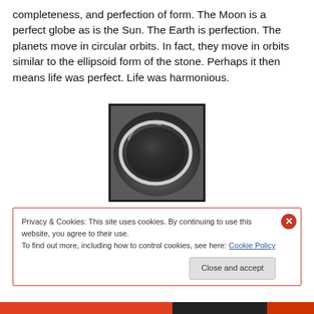completeness, and perfection of form. The Moon is a perfect globe as is the Sun. The Earth is perfection. The planets move in circular orbits. In fact, they move in orbits similar to the ellipsoid form of the stone. Perhaps it then means life was perfect. Life was harmonious.
[Figure (photo): Grayscale close-up photograph of an ellipsoid/oval stone showing its smooth elliptical outline against a dark background.]
Privacy & Cookies: This site uses cookies. By continuing to use this website, you agree to their use.
To find out more, including how to control cookies, see here: Cookie Policy
Close and accept